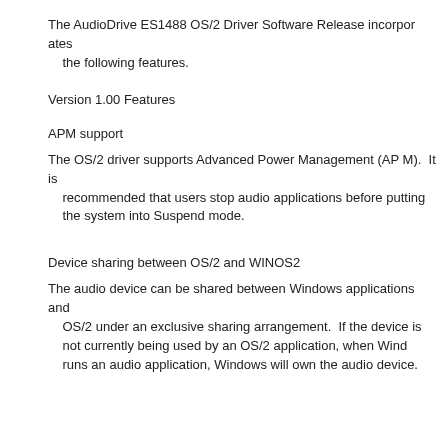The AudioDrive ES1488 OS/2 Driver Software Release incorporates the following features.
Version 1.00 Features
APM support
The OS/2 driver supports Advanced Power Management (APM).  It is recommended that users stop audio applications before putting the system into Suspend mode.
Device sharing between OS/2 and WINOS2
The audio device can be shared between Windows applications and OS/2 under an exclusive sharing arrangement.  If the device is not currently being used by an OS/2 application, when Windows runs an audio application, Windows will own the audio device.